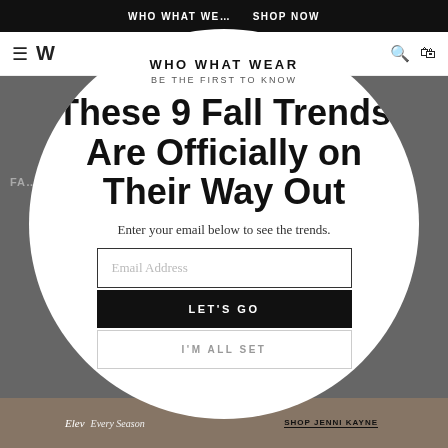WHO WHAT WEAR  SHOP NOW
[Figure (screenshot): Website navigation bar with hamburger menu, logo W, search and bag icons]
[Figure (screenshot): Dark background website page behind modal overlay]
WHO WHAT WEAR
BE THE FIRST TO KNOW
These 9 Fall Trends Are Officially on Their Way Out
Enter your email below to see the trends.
Email Address
LET'S GO
I'M ALL SET